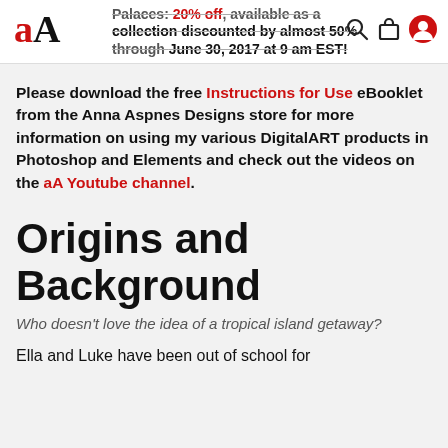Palaces: 20% off, available as a collection discounted by almost 50% through June 30, 2017 at 9 am EST!
Please download the free Instructions for Use eBooklet from the Anna Aspnes Designs store for more information on using my various DigitalART products in Photoshop and Elements and check out the videos on the aA Youtube channel.
Origins and Background
Who doesn't love the idea of a tropical island getaway?
Ella and Luke have been out of school for